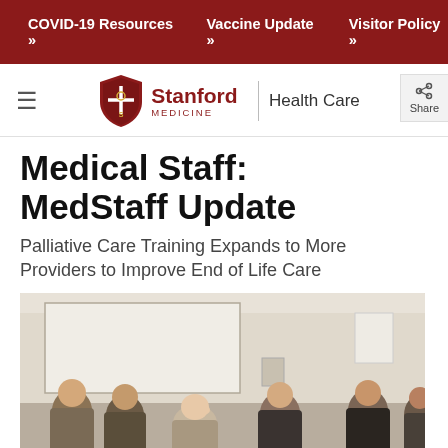COVID-19 Resources » Vaccine Update » Visitor Policy »
[Figure (logo): Stanford Medicine Health Care logo with shield emblem, hamburger menu icon, and search icon]
Medical Staff: MedStaff Update
Palliative Care Training Expands to More Providers to Improve End of Life Care
[Figure (photo): Group of healthcare providers sitting in a meeting room, with a whiteboard in the background. Several women are visible, appearing to be in a training or discussion session.]